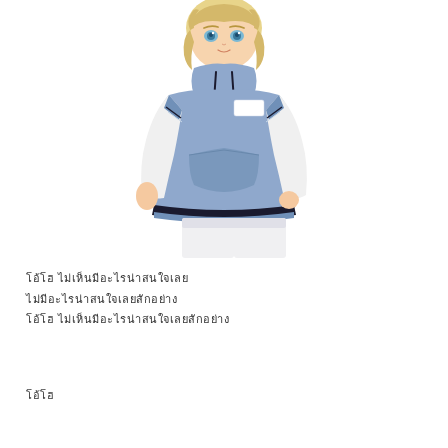[Figure (illustration): Anime-style illustration of a young person with blonde hair wearing a blue/periwinkle short-sleeve hoodie over a white long-sleeve shirt, with white pants. The character is shown from head to mid-thigh, with one hand in pocket.]
โอ้โฮ ไม่เห็นมีอะไรน่าสนใจเลย
ไม่มีอะไรน่าสนใจเลยสักอย่าง
โอ้โฮ ไม่เห็นมีอะไรน่าสนใจเลยสักอย่าง
โอ้โฮ